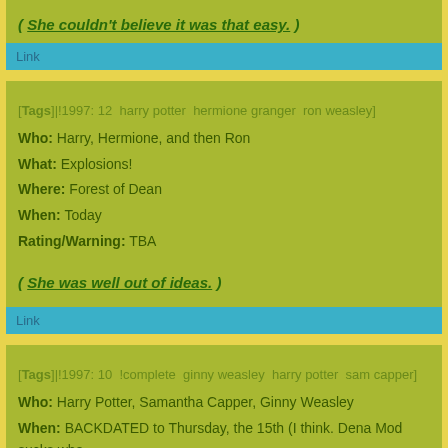( She couldn't believe it was that easy. )
Link
[Tags]|!1997: 12  harry potter  hermione granger  ron weasley]
Who: Harry, Hermione, and then Ron
What: Explosions!
Where: Forest of Dean
When: Today
Rating/Warning: TBA
( She was well out of ideas. )
Link
[Tags]|!1997: 10  !complete  ginny weasley  harry potter  sam capper]
Who: Harry Potter, Samantha Capper, Ginny Weasley
When: BACKDATED to Thursday, the 15th (I think. Dena Mod sucks whe
Where: Room of Requirement.
What: Harry finds out who Ginny's snogging these days.
Rating: T.B.A. (Probably PG-13 for girl snoggage and language.)
Open/Closed: Closed
( It was Harry's night with the locket. )
Link